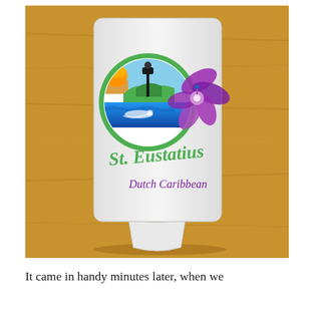[Figure (photo): A white foam can koozie/drink holder lying on a wooden table. The koozie features the St. Eustatius Dutch Caribbean tourism logo: a circular emblem with a green border containing a sunset, hills, blue water with a scuba diver silhouette, and a black lamp post. A purple hibiscus flower extends to the right of the circle. Text reads 'St. Eustatius' in green cursive and 'Dutch Caribbean' in purple below.]
It came in handy minutes later, when we